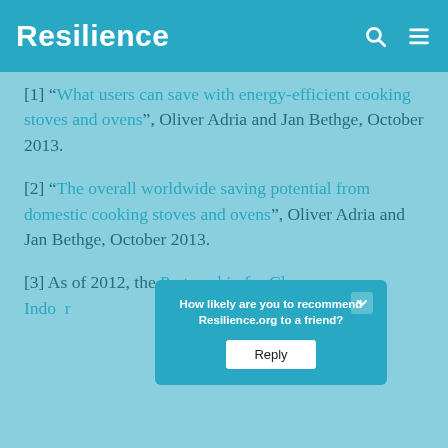Resilience
[1] “What users can save with energy-efficient cooking stoves and ovens”, Oliver Adria and Jan Bethge, October 2013.
[2] “The overall worldwide saving potential from domestic cooking stoves and ovens”, Oliver Adria and Jan Bethge, October 2013.
[3] As of 2012, the Partnership for Clean Indoor [Air] ... the Global...